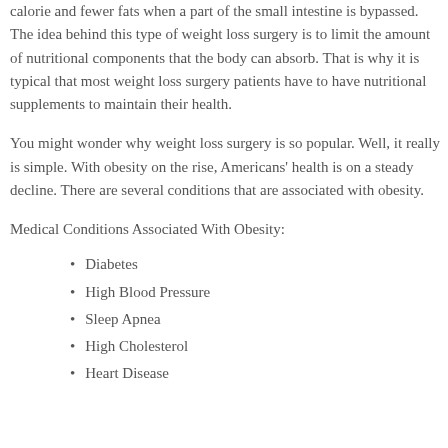calorie and fewer fats when a part of the small intestine is bypassed. The idea behind this type of weight loss surgery is to limit the amount of nutritional components that the body can absorb. That is why it is typical that most weight loss surgery patients have to have nutritional supplements to maintain their health.
You might wonder why weight loss surgery is so popular. Well, it really is simple. With obesity on the rise, Americans' health is on a steady decline. There are several conditions that are associated with obesity.
Medical Conditions Associated With Obesity:
Diabetes
High Blood Pressure
Sleep Apnea
High Cholesterol
Heart Disease